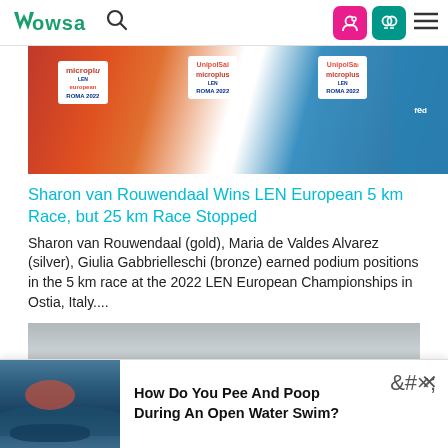WOWSA
[Figure (photo): Three athletes in orange and red competition jerseys at LEN European Aquatics Roma 2022, wearing UnipolSai and Microplus sponsor bibs]
Sharon van Rouwendaal Wins LEN European 5 km Race, but 25 km Race Stopped
Sharon van Rouwendaal (gold), Maria de Valdes Alvarez (silver), Giulia Gabbrielleschi (bronze) earned podium positions in the 5 km race at the 2022 LEN European Championships in Ostia, Italy....
[Figure (photo): Gray sky over water, partial view of open water swimming scene]
How Do You Pee And Poop During An Open Water Swim?